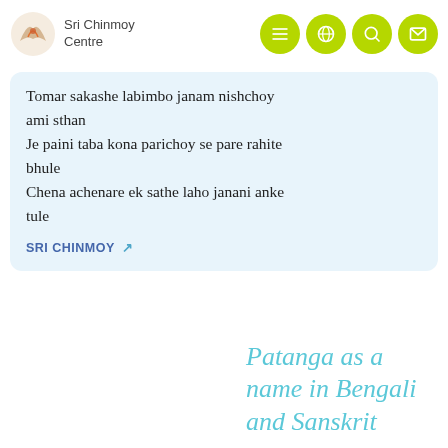Sri Chinmoy Centre
Tomar sakashe labimbo janam nishchoy ami sthan
Je paini taba kona parichoy se pare rahite bhule
Chena achenare ek sathe laho janani anke tule
SRI CHINMOY
Patanga as a name in Bengali and Sanskrit